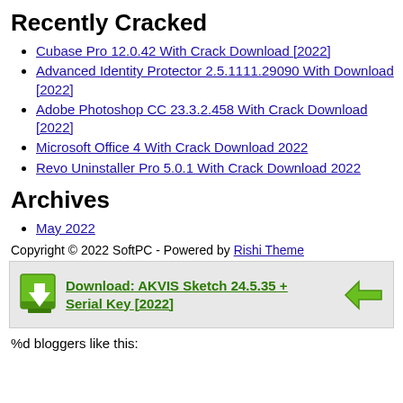Recently Cracked
Cubase Pro 12.0.42 With Crack Download [2022]
Advanced Identity Protector 2.5.1111.29090 With Download [2022]
Adobe Photoshop CC 23.3.2.458 With Crack Download [2022]
Microsoft Office 4 With Crack Download 2022
Revo Uninstaller Pro 5.0.1 With Crack Download 2022
Archives
May 2022
Copyright © 2022 SoftPC - Powered by Rishi Theme
[Figure (infographic): Download banner for AKVIS Sketch 24.5.35 + Serial Key [2022] with green download icons on left and right]
%d bloggers like this: